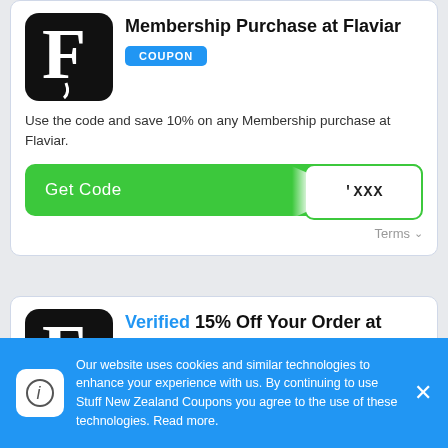[Figure (logo): Flaviar app logo — white F on black rounded square background]
Membership Purchase at Flaviar
Use the code and save 10% on any Membership purchase at Flaviar.
[Figure (other): Green Get Code button bar with partially revealed coupon code 'XXX']
Terms
[Figure (logo): Flaviar app logo — white F on black rounded square background]
Verified 15% Off Your Order at Flaviar
Use the code and get 15% off your order at Flaviar.
Our website uses cookies and similar technologies to enhance your experience with us. By continuing to use Stuff New Zealand Coupons you agree to the use of these technologies. Read more.